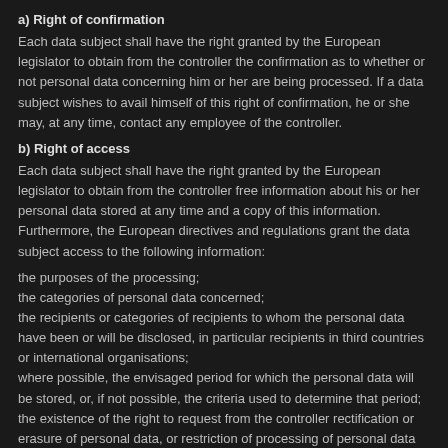a) Right of confirmation
Each data subject shall have the right granted by the European legislator to obtain from the controller the confirmation as to whether or not personal data concerning him or her are being processed. If a data subject wishes to avail himself of this right of confirmation, he or she may, at any time, contact any employee of the controller.
b) Right of access
Each data subject shall have the right granted by the European legislator to obtain from the controller free information about his or her personal data stored at any time and a copy of this information. Furthermore, the European directives and regulations grant the data subject access to the following information:
the purposes of the processing;
the categories of personal data concerned;
the recipients or categories of recipients to whom the personal data have been or will be disclosed, in particular recipients in third countries or international organisations;
where possible, the envisaged period for which the personal data will be stored, or, if not possible, the criteria used to determine that period;
the existence of the right to request from the controller rectification or erasure of personal data, or restriction of processing of personal data concerning the data subject, or to object to such processing;
the existence of the right to lodge a complaint with a supervisory authority;
where the personal data are not collected from the data subject, any available information as to their source;
the existence of automated decision-making, including profiling, referred to in Article 22(1) and (4) of the GDPR and, at least in those cases,